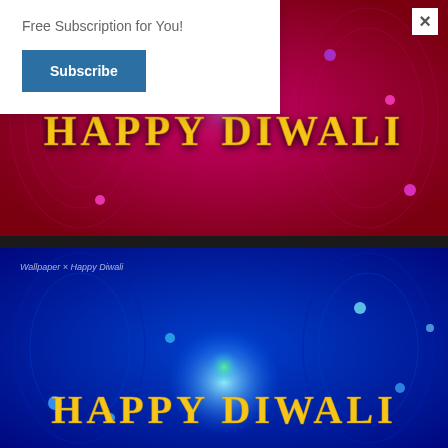[Figure (illustration): Red fractal psychedelic wallpaper with Happy Diwali text in yellow, labeled 'Wallpaper × Happy Diwali Revisited']
[Figure (illustration): Blue fractal psychedelic wallpaper with Happy Diwali text in yellow/orange, labeled 'Wallpaper × Happy Diwali']
Free Subscription for You!
Subscribe
×